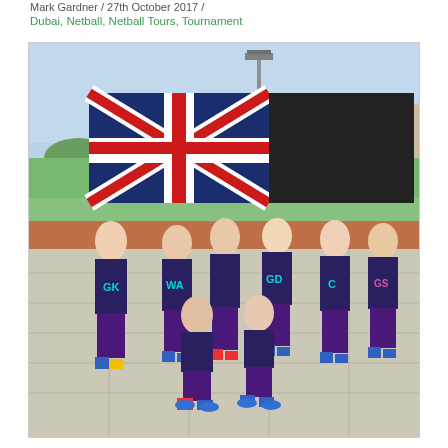Mark Gardner / 27th October 2017 /
Dubai, Netball, Netball Tours, Tournament
[Figure (photo): A group of 8 young female netball players in dark navy/purple and teal uniforms with pink accents, holding up a Union Jack flag and a black flag. Players in back row standing, two crouching in front. They are on a paved outdoor court with a grass field, running track, and city buildings visible in the background. Players wear bibs with positions: GK, WA, GD, C, GS.]